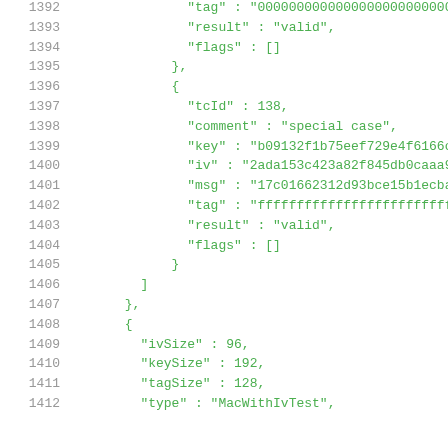Code listing lines 1392-1412 showing JSON test vector data with fields: tag, result, flags, tcId, comment, key, iv, msg, tag, result, flags, ivSize, keySize, tagSize, type